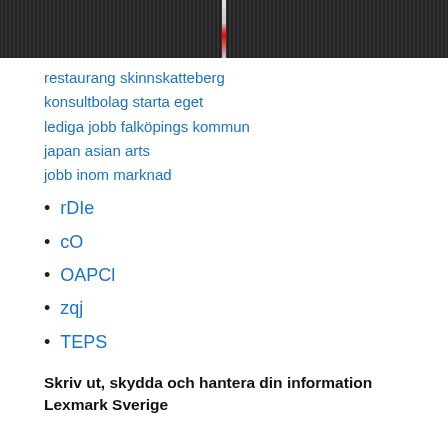[Figure (photo): A dark photo of a road or corridor with a white/red center line vanishing in perspective, shot in a parking garage or industrial setting.]
restaurang skinnskatteberg
konsultbolag starta eget
lediga jobb falköpings kommun
japan asian arts
jobb inom marknad
rDIe
cO
OAPCl
zqj
TEPS
Skriv ut, skydda och hantera din information Lexmark Sverige